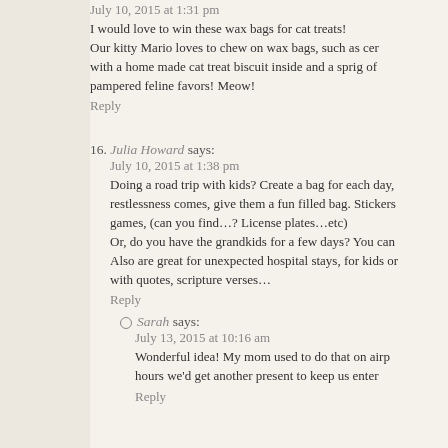July 10, 2015 at 1:31 pm
I would love to win these wax bags for cat treats! Our kitty Mario loves to chew on wax bags, such as cer with a home made cat treat biscuit inside and a sprig of pampered feline favors! Meow!
Reply
16. Julia Howard says:
July 10, 2015 at 1:38 pm
Doing a road trip with kids? Create a bag for each day, restlessness comes, give them a fun filled bag. Stickers games, (can you find…? License plates…etc) Or, do you have the grandkids for a few days? You can Also are great for unexpected hospital stays, for kids or with quotes, scripture verses…
Reply
Sarah says:
July 13, 2015 at 10:16 am
Wonderful idea! My mom used to do that on airp hours we'd get another present to keep us enter
Reply
17. HawaiianLibrarian says:
July 10, 2015 at 2:04 pm
I'd like to use the waxed sacks for loose tea blends to s swappers, decorating the outside of the sacks with was